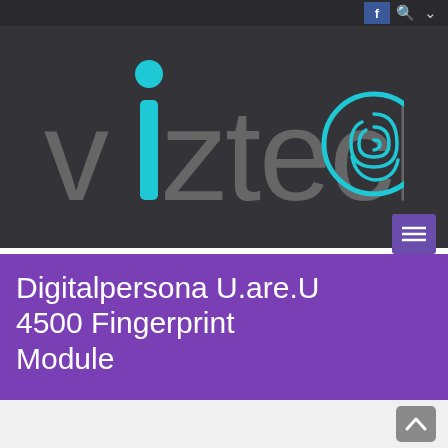f [search] [menu]
[Figure (logo): Viztechno logo on dark background. The word 'viztechno' in large light grey text with a cyan/teal colored stylized letter 'i' with a dot above and a teal fingerprint replacing the letter 'o' at the end.]
Digitalpersona U.are.U 4500 Fingerprint Module